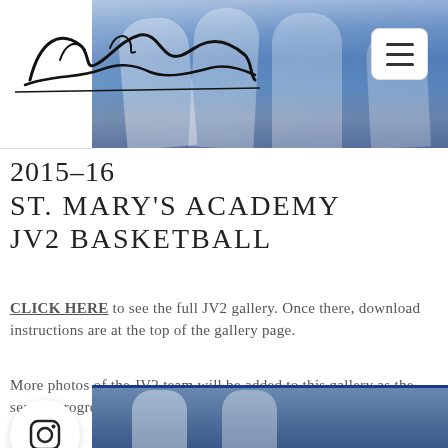[Figure (photo): Basketball players running on court, cropped to show legs and athletic shoes, blue and white uniforms, gym floor visible. Header image for sports photography website.]
2015–16
ST. MARY'S ACADEMY
JV2 BASKETBALL
CLICK HERE to see the full JV2 gallery. Once there, download instructions are at the top of the gallery page.
More photos of the JV2 team will be added to this gallery as the season progresses.
[Figure (photo): Two basketball players in white uniforms standing on a blue gym floor, partial view at bottom of page.]